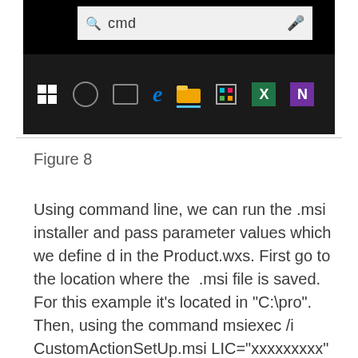[Figure (screenshot): Windows taskbar screenshot showing search bar with 'cmd' typed, and taskbar icons including Windows logo, Cortana, Task View, Edge, File Explorer, Microsoft Store, Excel, and OneNote]
Figure 8
Using command line, we can run the .msi installer and pass parameter values which we define d in the Product.wxs. First go to the location where the .msi file is saved. For this example it’s located in “C:\pro”. Then, using the command msiexec /i CustomActionSetUp.msi LIC=“xxxxxxxxx” NAME=“dayton”, as